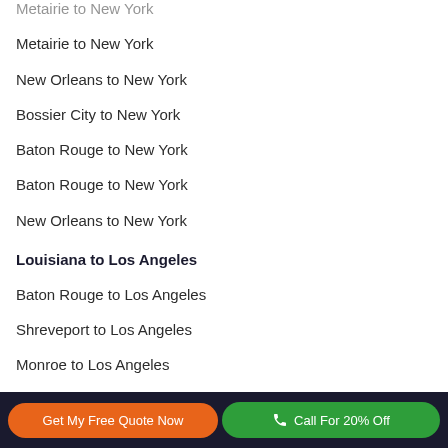Metairie to New York
New Orleans to New York
Bossier City to New York
Baton Rouge to New York
Baton Rouge to New York
New Orleans to New York
Louisiana to Los Angeles
Baton Rouge to Los Angeles
Shreveport to Los Angeles
Monroe to Los Angeles
Lake Charles to Los Angeles
New Orleans to Los Angeles
Get My Free Quote Now   Call For 20% Off